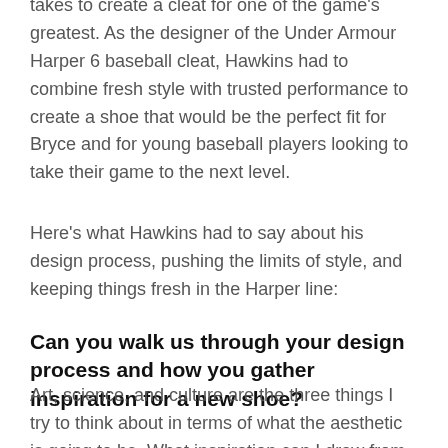takes to create a cleat for one of the game's greatest. As the designer of the Under Armour Harper 6 baseball cleat, Hawkins had to combine fresh style with trusted performance to create a shoe that would be the perfect fit for Bryce and for young baseball players looking to take their game to the next level.
Here's what Hawkins had to say about his design process, pushing the limits of style, and keeping things fresh in the Harper line:
Can you walk us through your design process and how you gather inspiration for a new shoe?
Art, science, and culture are the three things I try to think about in terms of what the aesthetic is going to be. What inspiration can I draw from, and is Bryce going to relate to